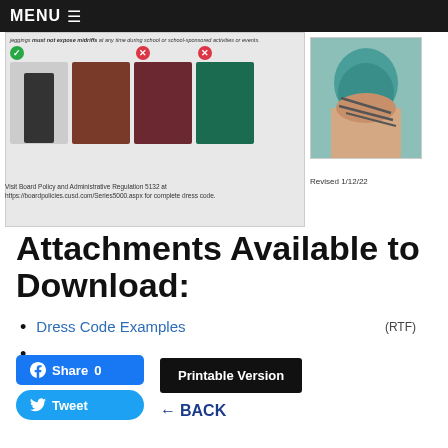MENU
[Figure (photo): Dress code examples showing acceptable and unacceptable leggings with checkmark and X icons, plus a person with teal dyed hair]
jeggings must not expose midriffs at any time during school or school-sponsored activities or events. Visit Board Policy and Administrative Regulation 5132 at https://boardpolicies.cusd.com/Series5000.aspx for complete dress code.
Revised 1/12/22
Attachments Available to Download:
Dress Code Examples (RTF)
[Figure (screenshot): Facebook Share 0 button and Twitter Tweet button]
[Figure (screenshot): Printable Version button]
← BACK